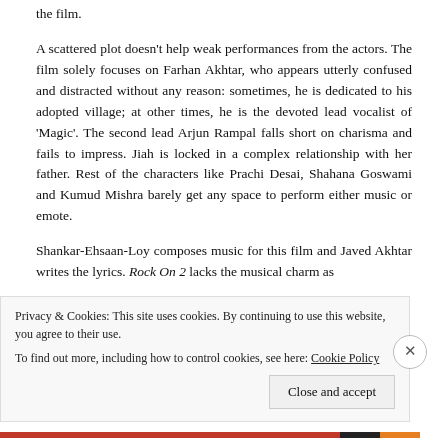the film.
A scattered plot doesn't help weak performances from the actors. The film solely focuses on Farhan Akhtar, who appears utterly confused and distracted without any reason: sometimes, he is dedicated to his adopted village; at other times, he is the devoted lead vocalist of 'Magic'. The second lead Arjun Rampal falls short on charisma and fails to impress. Jiah is locked in a complex relationship with her father. Rest of the characters like Prachi Desai, Shahana Goswami and Kumud Mishra barely get any space to perform either music or emote.
Shankar-Ehsaan-Loy composes music for this film and Javed Akhtar writes the lyrics. Rock On 2 lacks the musical charm as
Privacy & Cookies: This site uses cookies. By continuing to use this website, you agree to their use.
To find out more, including how to control cookies, see here: Cookie Policy